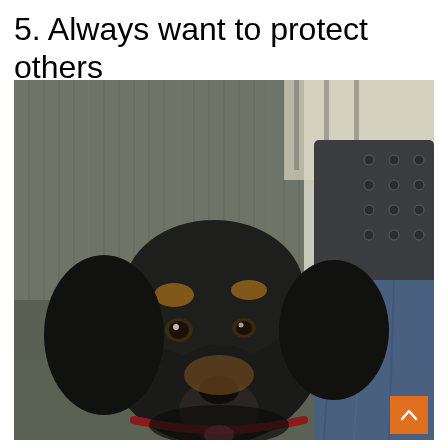5. Always want to protect others
[Figure (photo): A black and tan dachshund puppy sitting between a grey fabric couch cushion and a person wearing blue jeans, looking alertly at the camera with an expressive face. In the background there is another chair with studded details.]